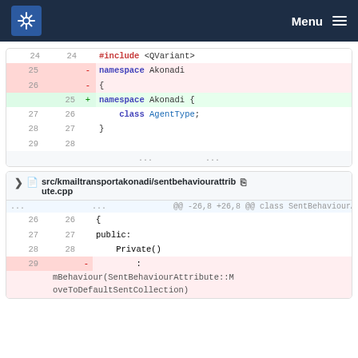KDE Menu
[Figure (screenshot): Code diff view showing two file changes. First diff: lines 24-29/28 with namespace Akonadi change (two-line form to one-line form). Second diff: src/kmailtransportakonadi/sentbehaviourattribute.cpp lines 26-29 showing a removed colon+initializer line.]
#include <QVariant>
namespace Akonadi
{
namespace Akonadi {
class AgentType;
}

@@ -26,8 +26,8 @@ class SentBehaviourAttribute::Private
{
public:
    Private()
        :
        mBehaviour(SentBehaviourAttribute::MoveToDefaultSentCollection)